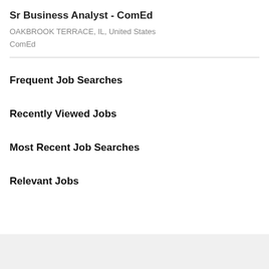Sr Business Analyst - ComEd
OAKBROOK TERRACE, IL, United States
ComEd
Frequent Job Searches
Recently Viewed Jobs
Most Recent Job Searches
Relevant Jobs